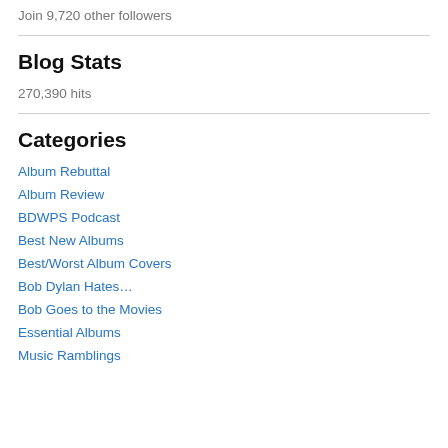Join 9,720 other followers
Blog Stats
270,390 hits
Categories
Album Rebuttal
Album Review
BDWPS Podcast
Best New Albums
Best/Worst Album Covers
Bob Dylan Hates…
Bob Goes to the Movies
Essential Albums
Music Ramblings